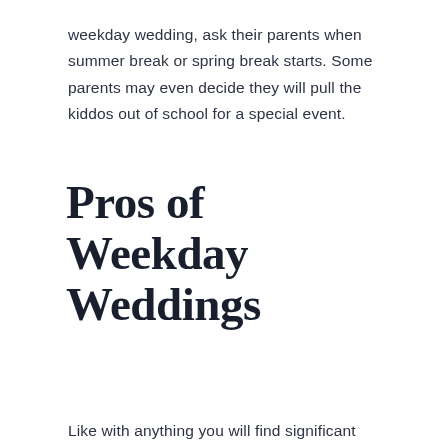weekday wedding, ask their parents when summer break or spring break starts. Some parents may even decide they will pull the kiddos out of school for a special event.
Pros of Weekday Weddings
Like with anything you will find significant advantages and drawbacks of hosting a weekday wedding.
You Can Secure the Best Vendors